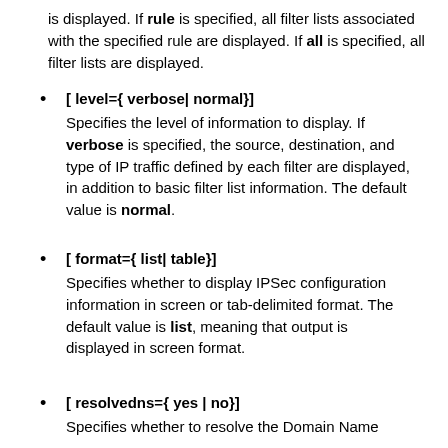is displayed. If rule is specified, all filter lists associated with the specified rule are displayed. If all is specified, all filter lists are displayed.
[ level={ verbose| normal}]
Specifies the level of information to display. If verbose is specified, the source, destination, and type of IP traffic defined by each filter are displayed, in addition to basic filter list information. The default value is normal.
[ format={ list| table}]
Specifies whether to display IPSec configuration information in screen or tab-delimited format. The default value is list, meaning that output is displayed in screen format.
[ resolvedns={ yes | no}]
Specifies whether to resolve the Domain Name